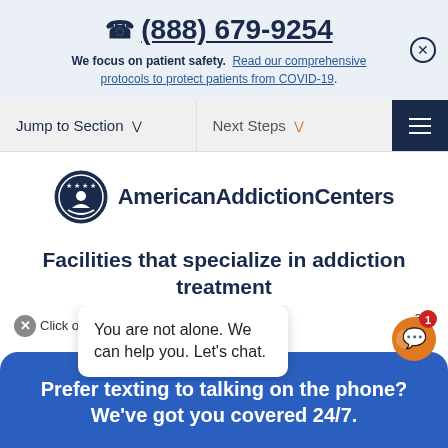☎ (888) 679-9254
We focus on patient safety. Read our comprehensive protocols to protect patients from COVID-19.
Jump to Section
Next Steps
[Figure (logo): American Addiction Centers logo with circular emblem and text]
Facilities that specialize in addiction treatment
Click on a pin to ... facil
You are not alone. We can help you. Let's chat.
Prefer texting to talking on the phone? We've got you covered 24/7.